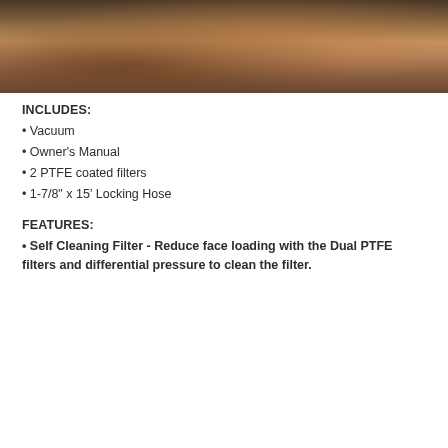[Figure (photo): Person wearing a tan jacket and plaid shirt, adjusting their collar, photographed from mid-torso up indoors]
INCLUDES:
• Vacuum
• Owner's Manual
• 2 PTFE coated filters
• 1-7/8" x 15' Locking Hose
FEATURES:
• Self Cleaning Filter - Reduce face loading with the Dual PTFE filters and differential pressure to clean the filter.